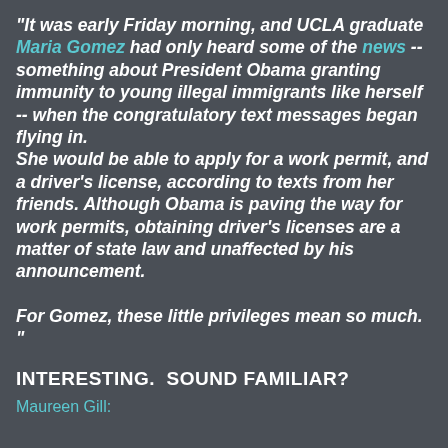"It was early Friday morning, and UCLA graduate Maria Gomez had only heard some of the news -- something about President Obama granting immunity to young illegal immigrants like herself -- when the congratulatory text messages began flying in.
She would be able to apply for a work permit, and a driver's license, according to texts from her friends. Although Obama is paving the way for work permits, obtaining driver's licenses are a matter of state law and unaffected by his announcement.

For Gomez, these little privileges mean so much.
"
INTERESTING.  SOUND FAMILIAR?
Maureen Gill: